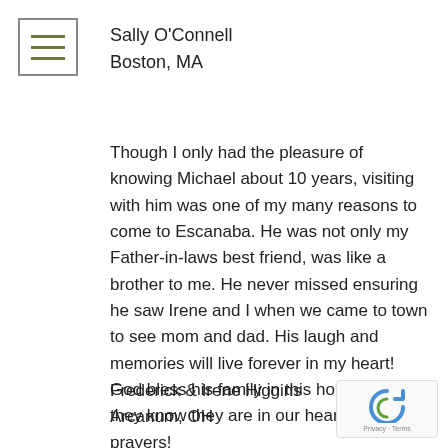[Figure (other): Hamburger menu icon with three horizontal olive-colored lines inside a square border]
Sally O'Connell
Boston, MA
Though I only had the pleasure of knowing Michael about 10 years, visiting with him was one of my many reasons to come to Escanaba. He was not only my Father-in-laws best friend, was like a brother to me. He never missed ensuring he saw Irene and I when we came to town to see mom and dad. His laugh and memories will live forever in my heart! God bless his family in this hour and may they know they are in our hearts and prayers!
Frederick & Irene Higgins
Arcanum, OH
[Figure (other): reCAPTCHA badge with rotating arrows logo and Privacy - Terms text]